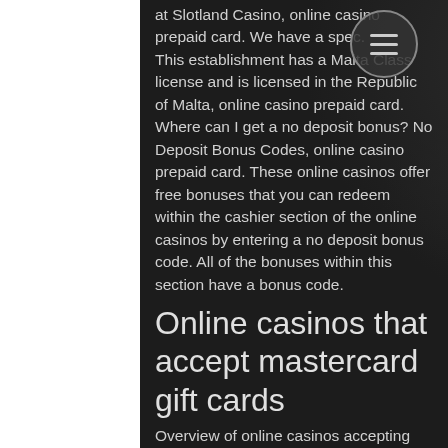at Slotland Casino, online casino prepaid card. We have a spec. This establishment has a Malta Class license and is licensed in the Republic of Malta, online casino prepaid card. Where can I get a no deposit bonus? No Deposit Bonus Codes, online casino prepaid card. These online casinos offer free bonuses that you can redeem within the cashier section of the online casinos by entering a no deposit bonus code. All of the bonuses within this section have a bonus code.
Online casinos that accept mastercard gift cards
Overview of online casinos accepting prepaid cards deposits in 2021. Find your favorite prepaid cards casino with a huge bonus including player ratings and. Learn